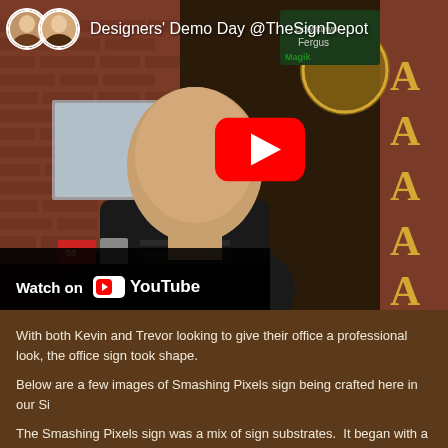[Figure (screenshot): YouTube video thumbnail showing a man in a black jacket looking up, in front of a brick building with signs. Header shows two avatar photos and text 'Designers' Demo Day @TheSignDepot'. A red YouTube play button is visible in the center. A 'Watch on YouTube' bar is shown at the bottom left of the video.]
With both Kevin and Trevor looking to give their office a professional look, the office sign took shape.
Below are a few images of Smashing Pixels sign being crafted here in our Si
The Smashing Pixels sign was a mix of sign substrates.  It began with a sand